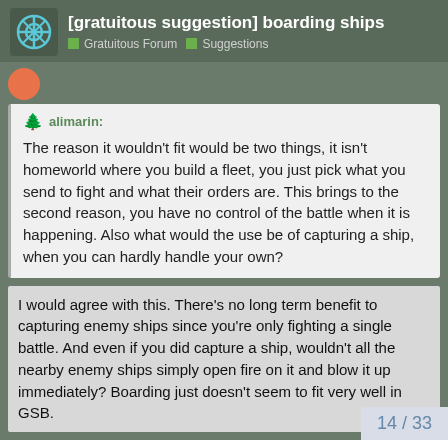[gratuitous suggestion] boarding ships — Gratuitous Forum — Suggestions
alimarin: The reason it wouldn't fit would be two things, it isn't homeworld where you build a fleet, you just pick what you send to fight and what their orders are. This brings to the second reason, you have no control of the battle when it is happening. Also what would the use be of capturing a ship, when you can hardly handle your own?
I would agree with this. There's no long term benefit to capturing enemy ships since you're only fighting a single battle. And even if you did capture a ship, wouldn't all the nearby enemy ships simply open fire on it and blow it up immediately? Boarding just doesn't seem to fit very well in GSB.
14 / 33